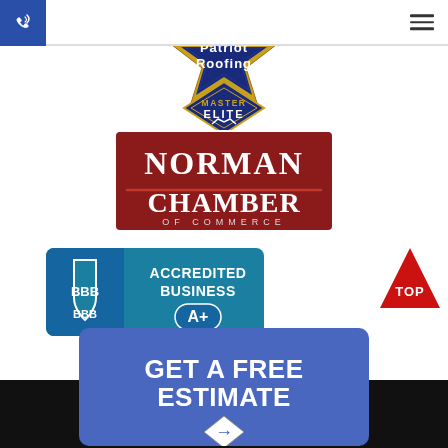[Figure (logo): Navigation bar with phone icon (blue background) on left, hamburger menu icon on right]
[Figure (logo): Patriot Roofing logo with star and 'Master Elite' diamond badge below]
[Figure (logo): Norman Chamber of Commerce logo - dark red rectangular badge with white text]
[Figure (logo): BBB Accredited Business A+ badge in teal/blue]
[Figure (other): Red triangle TOP button in bottom right area]
[Figure (other): Blue button reading GET A FREE ESTIMATE with diamond arrow icon]